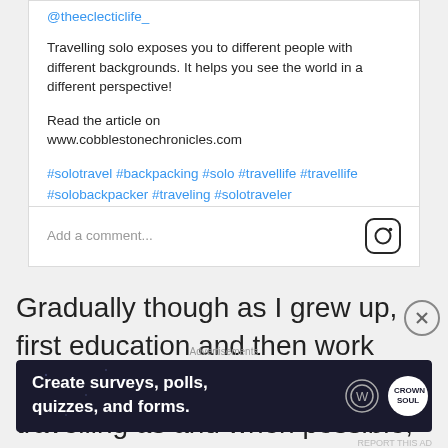@theeclecticlife_
Travelling solo exposes you to different people with different backgrounds. It helps you see the world in a different perspective!
Read the article on www.cobblestonechronicles.com
#solotravel #backpacking #solo #travellife #travellife #solobackpacker #traveling #solotraveler
Add a comment...
Gradually though as I grew up, first education and then work took over life. While I kept on travelling as and when possible, it was only after
Advertisements
[Figure (screenshot): Advertisement banner: dark navy background with text 'Create surveys, polls, quizzes, and forms.' with WordPress and crown logo icons]
REPORT THIS AD